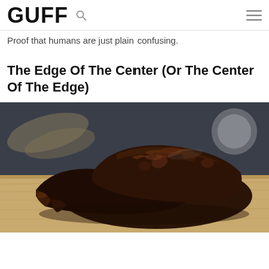GUFF
Proof that humans are just plain confusing.
The Edge Of The Center (Or The Center Of The Edge)
[Figure (photo): Close-up photograph of a fudgy chocolate brownie on a wooden cutting board, with a coffee cup and other items blurred in the background]